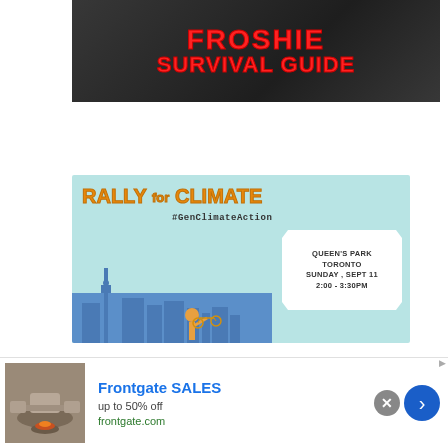[Figure (illustration): Froshie Survival Guide banner with large red text on dark/brick background]
[Figure (illustration): Rally for Climate poster with text 'RALLY for CLIMATE #GenClimateAction' and event details: Queen's Park, Toronto, Sunday Sept 11, 2:00–3:30PM. Features Toronto skyline and figure holding scales of justice.]
[Figure (illustration): Frontgate SALES advertisement showing outdoor furniture with fire pit. Text: 'Frontgate SALES', 'up to 50% off', 'frontgate.com']